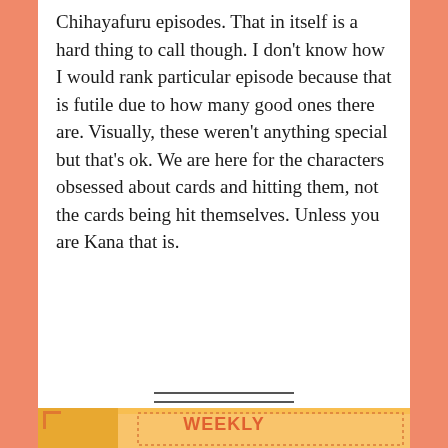Chihayafuru episodes. That in itself is a hard thing to call though. I don't know how I would rank particular episode because that is futile due to how many good ones there are. Visually, these weren't anything special but that's ok. We are here for the characters obsessed about cards and hitting them, not the cards being hit themselves. Unless you are Kana that is.
[Figure (illustration): Advertisement banner showing 'WEEKLY SPECIALS FEATURING FALL' with an anime character (dark spiky hair, blue highlights) on a yellow/orange geometric background with dotted border.]